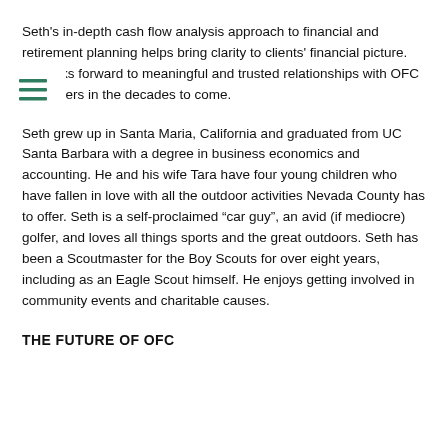as well as met and advised clients on investment, tax, estate and retirement planning.
Seth's in-depth cash flow analysis approach to financial and retirement planning helps bring clarity to clients' financial picture. He looks forward to meaningful and trusted relationships with OFC customers in the decades to come.
Seth grew up in Santa Maria, California and graduated from UC Santa Barbara with a degree in business economics and accounting. He and his wife Tara have four young children who have fallen in love with all the outdoor activities Nevada County has to offer. Seth is a self-proclaimed “car guy”, an avid (if mediocre) golfer, and loves all things sports and the great outdoors. Seth has been a Scoutmaster for the Boy Scouts for over eight years, including as an Eagle Scout himself. He enjoys getting involved in community events and charitable causes.
THE FUTURE OF OFC